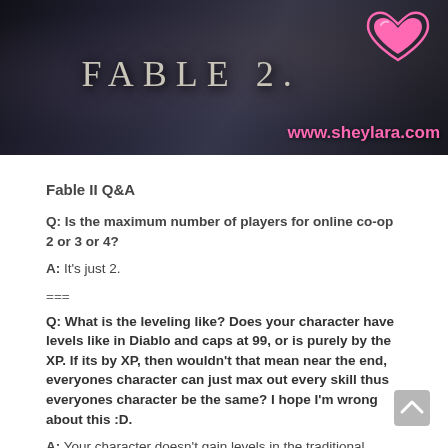[Figure (illustration): Fable 2 game banner with dark fantasy background, text 'FABLE 2.' in center, pink heart logo and www.sheylara.com URL on the right side]
Fable II Q&A
Q: Is the maximum number of players for online co-op 2 or 3 or 4?
A: It's just 2.
===
Q: What is the leveling like? Does your character have levels like in Diablo and caps at 99, or is purely by the XP. If its by XP, then wouldn't that mean near the end, everyones character can just max out every skill thus everyones character be the same? I hope I'm wrong about this :D.
A: Your character doesn't gain levels in the traditional sense, like Diablo. What happens is that your Abilities gain level. Abilities in Fable 2 are broken down into Strength, Skill and Will. Each of these are further broken down into